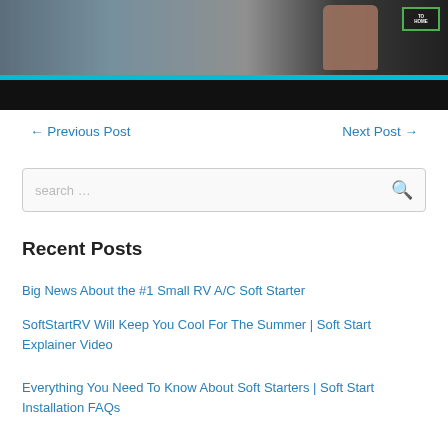[Figure (photo): Top banner image showing a person's hand with equipment, partial photo at top of page, black bar below with cyan separator.]
← Previous Post
Next Post →
search …
Recent Posts
Big News About the #1 Small RV A/C Soft Starter
SoftStartRV Will Keep You Cool For The Summer | Soft Start Explainer Video
Everything You Need To Know About Soft Starters | Soft Start Installation FAQs